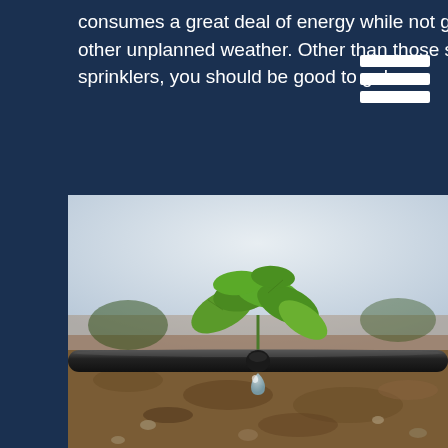consumes a great deal of energy while not guaranteeing effective water distribution in high winds and other unplanned weather. Other than those setbacks, as long as clean water is flowing through your sprinklers, you should be good to go!
[Figure (photo): Close-up photo of a drip irrigation pipe with a water droplet, with a small green plant seedling in the background and sandy/dirt soil in the foreground.]